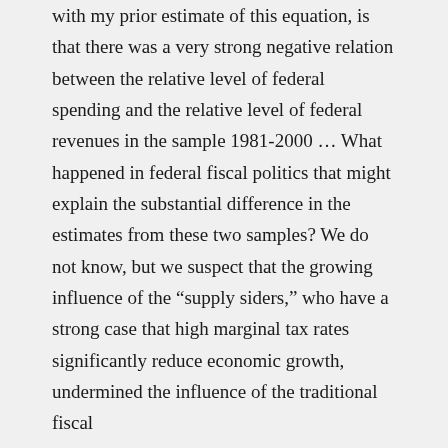with my prior estimate of this equation, is that there was a very strong negative relation between the relative level of federal spending and the relative level of federal revenues in the sample 1981-2000 … What happened in federal fiscal politics that might explain the substantial difference in the estimates from these two samples? We do not know, but we suspect that the growing influence of the “supply siders,” who have a strong case that high marginal tax rates significantly reduce economic growth, undermined the influence of the traditional fiscal conservatives, it att d d